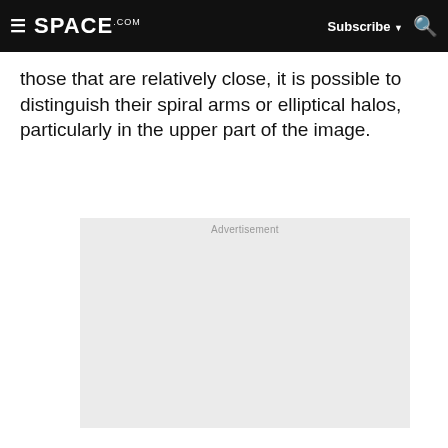SPACE.com — Subscribe
those that are relatively close, it is possible to distinguish their spiral arms or elliptical halos, particularly in the upper part of the image.
[Figure (other): Advertisement placeholder box with light gray background and 'Advertisement' label at top center]